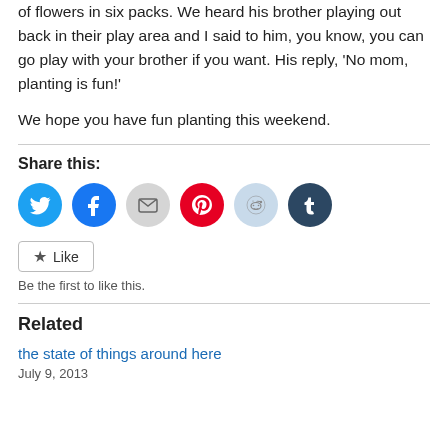of flowers in six packs. We heard his brother playing out back in their play area and I said to him, you know, you can go play with your brother if you want. His reply, 'No mom, planting is fun!'
We hope you have fun planting this weekend.
Share this:
[Figure (infographic): Row of six social share icon circles: Twitter (blue), Facebook (blue), Email (gray), Pinterest (red), Reddit (light blue), Tumblr (dark navy)]
[Figure (infographic): Like button with star icon and text 'Like']
Be the first to like this.
Related
the state of things around here
July 9, 2013